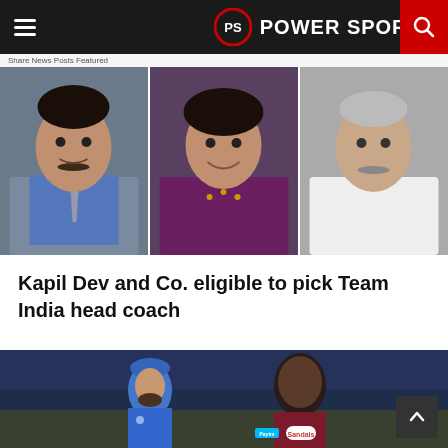POWER SPORTZ
[Figure (photo): Three portrait photos side by side: man in blue shirt and grey tie with moustache, woman in purple outfit smiling, elderly man in white shirt]
Kapil Dev and Co. eligible to pick Team India head coach
[Figure (photo): Two cricket players in conversation on a cricket field: one in blue Indian team jersey (Virat Kohli), one in maroon West Indies jersey (Kieron Pollard), with Paytm and Sandals sponsor logos visible]